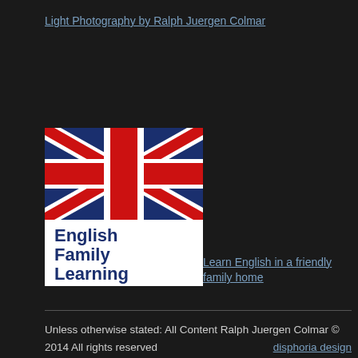Light Photography by Ralph Juergen Colmar
[Figure (logo): English Family Learning logo — Union Jack flag design above bold dark blue text reading 'English Family Learning' on white background]
Learn English in a friendly family home
Unless otherwise stated: All Content Ralph Juergen Colmar © 2014 All rights reserved  disphoria design